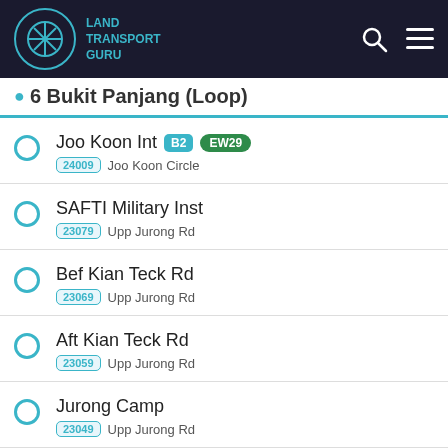Land Transport Guru
6 Bukit Panjang (Loop)
Joo Koon Int B2 EW29 | 24009 Joo Koon Circle
SAFTI Military Inst | 23079 Upp Jurong Rd
Bef Kian Teck Rd | 23069 Upp Jurong Rd
Aft Kian Teck Rd | 23059 Upp Jurong Rd
Jurong Camp | 23049 Upp Jurong Rd
Bef Jurong West St 93 | 22471 Upp Jurong Rd